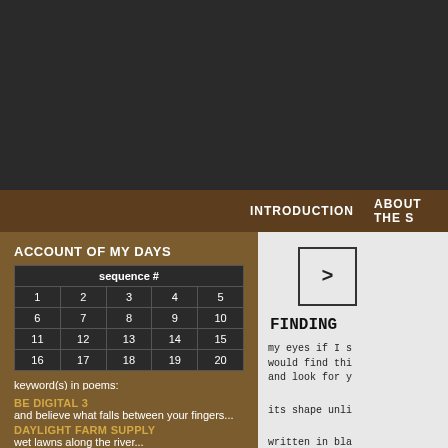[Figure (screenshot): Dark top header bar background]
INTRODUCTION   ABOUT THE S
ACCOUNT OF MY DAYS
| sequence # |
| --- |
| 1 | 2 | 3 | 4 | 5 |
| 6 | 7 | 8 | 9 | 10 |
| 11 | 12 | 13 | 14 | 15 |
| 16 | 17 | 18 | 19 | 20 |
keyword(s) in poems:
search
BE DIGITAL 3
and believe what falls between your fingers...
DAYLIGHT FARM SUPPLY
wet lawns along the river...
ASKING FOR HELP
the one I want...
BYE BYE
to be commanded to sit down...
>
FINDING
my eyes if I s
would find thi
and look for y
its shape unli
written in bla
can rest forev
are perfect bl
your name, if...